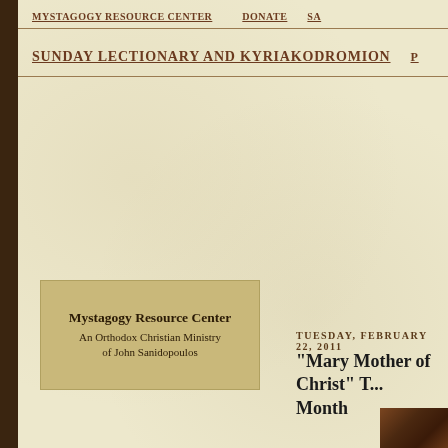MYSTAGOGY RESOURCE CENTER   DONATE   SA
SUNDAY LECTIONARY AND KYRIAKODROMION
[Figure (other): Mystagogy Resource Center logo box — tan/gold background box reading: Mystagogy Resource Center / An Orthodox Christian Ministry of John Sanidopoulos]
TUESDAY, FEBRUARY 22, 2011
"Mary Mother of Christ" T... Month